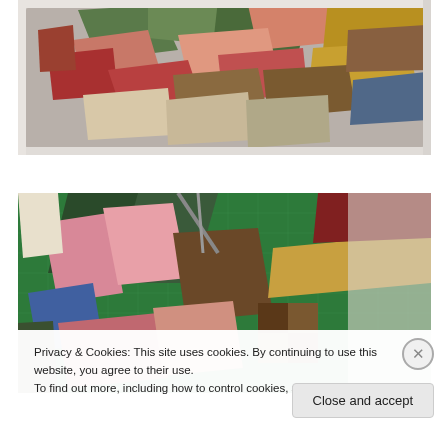[Figure (photo): Overhead view of a pile of colorful fabric scraps and quilt pieces in a white tray/bin, showing various patterned fabrics in red, green, pink, brown, gold, and blue tones.]
[Figure (photo): Quilt fabric pieces and scraps laid out on a green cutting mat, showing various patterned fabrics being prepared for quilting.]
Privacy & Cookies: This site uses cookies. By continuing to use this website, you agree to their use.
To find out more, including how to control cookies, see here: Cookie Policy
Close and accept